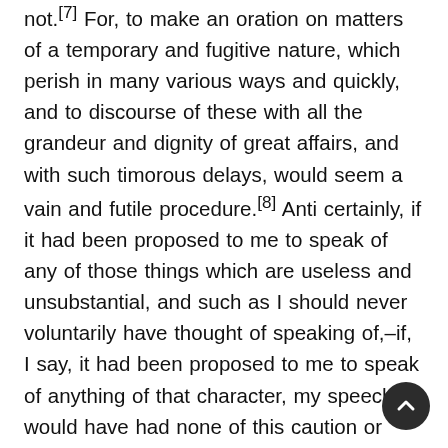not.[7] For, to make an oration on matters of a temporary and fugitive nature, which perish in many various ways and quickly, and to discourse of these with all the grandeur and dignity of great affairs, and with such timorous delays, would seem a vain and futile procedure.[8] Anti certainly, if it had been proposed to me to speak of any of those things which are useless and unsubstantial, and such as I should never voluntarily have thought of speaking of,–if, I say, it had been proposed to me to speak of anything of that character, my speech would have had none of this caution or fear, lest in any statement I might seem to come beneath the merit of the subject. But now, my subject dealing with that which is most godlike in the man, and that in him which has most affinity with God, that which is indeed confined within the limits of this visible